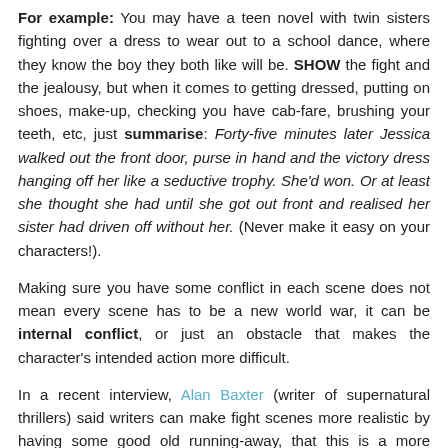For example: You may have a teen novel with twin sisters fighting over a dress to wear out to a school dance, where they know the boy they both like will be. SHOW the fight and the jealousy, but when it comes to getting dressed, putting on shoes, make-up, checking you have cab-fare, brushing your teeth, etc, just summarise: Forty-five minutes later Jessica walked out the front door, purse in hand and the victory dress hanging off her like a seductive trophy. She'd won. Or at least she thought she had until she got out front and realised her sister had driven off without her. (Never make it easy on your characters!).
Making sure you have some conflict in each scene does not mean every scene has to be a new world war, it can be internal conflict, or just an obstacle that makes the character's intended action more difficult.
In a recent interview, Alan Baxter (writer of supernatural thrillers) said writers can make fight scenes more realistic by having some good old running-away, that this is a more natural reaction. So your conflict could be your character